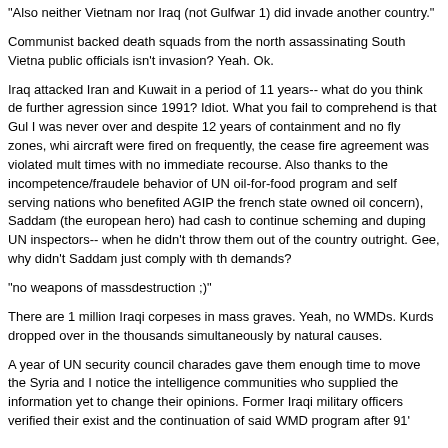"Also neither Vietnam nor Iraq (not Gulfwar 1) did invade another country."
Communist backed death squads from the north assassinating South Vietnam public officials isn't invasion? Yeah. Ok.
Iraq attacked Iran and Kuwait in a period of 11 years-- what do you think de further agression since 1991? Idiot. What you fail to comprehend is that Gul I was never over and despite 12 years of containment and no fly zones, whi aircraft were fired on frequently, the cease fire agreement was violated mult times with no immediate recourse. Also thanks to the incompetence/fraudel behavior of UN oil-for-food program and self serving nations who benefited AGIP the french state owned oil concern), Saddam (the european hero) had cash to continue scheming and duping UN inspectors-- when he didn't throw them out of the country outright. Gee, why didn't Saddam just comply with th demands?
"no weapons of massdestruction ;)"
There are 1 million Iraqi corpeses in mass graves. Yeah, no WMDs. Kurds dropped over in the thousands simultaneously by natural causes.
A year of UN security council charades gave them enough time to move the Syria and I notice the intelligence communities who supplied the information yet to change their opinions. Former Iraqi military officers verified their exist and the continuation of said WMD program after 91'